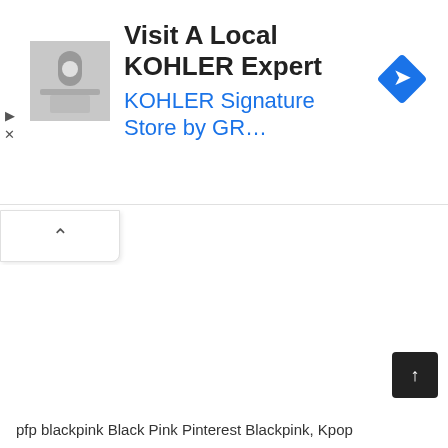[Figure (screenshot): Advertisement banner for KOHLER Signature Store. Contains a thumbnail image of a bathroom fixture, bold text 'Visit A Local KOHLER Expert', subtitle in blue 'KOHLER Signature Store by GR...', and a blue diamond-shaped navigation icon on the right. Play and X control icons on the left side.]
[Figure (screenshot): A white collapse/minimize tab with an upward-pointing caret (chevron) symbol, positioned below the ad banner.]
[Figure (screenshot): A dark square scroll-to-top button with an upward arrow (↑) in the bottom right corner of the page.]
pfp blackpink Black Pink Pinterest Blackpink, Kpop